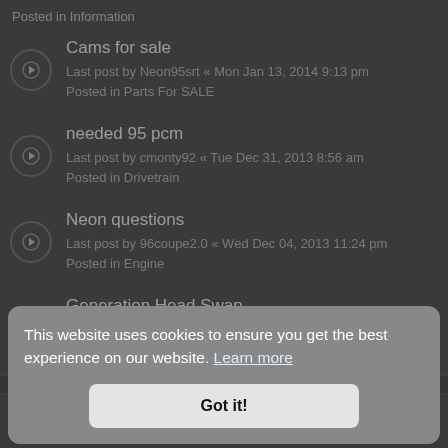Posted in Information
Cams for sale
Last post by Neon95srt « Mon Jan 13, 2014 9:13 pm
Posted in Parts For SALE
needed 95 pcm
Last post by cmonty92 « Tue Dec 31, 2013 8:56 am
Posted in Drivetrain
Neon questions
Last post by 96coupe2.0 « Wed Dec 04, 2013 11:24 pm
Posted in Engine
Generation Head Swap
Last post by celigts2002 « Wed Nov 06, 2013 3:56 pm
Posted in General 1st Gen Discussion
This website uses cookies to ensure you get the best experience on our website. Learn more
Got it!
Build Checklist....